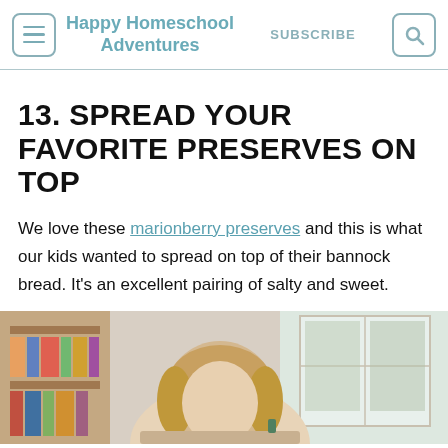Happy Homeschool Adventures | SUBSCRIBE
13. SPREAD YOUR FAVORITE PRESERVES ON TOP
We love these marionberry preserves and this is what our kids wanted to spread on top of their bannock bread. It's an excellent pairing of salty and sweet.
[Figure (photo): Child sitting at a table near a window with bookshelves in the background, viewed from above/side angle]